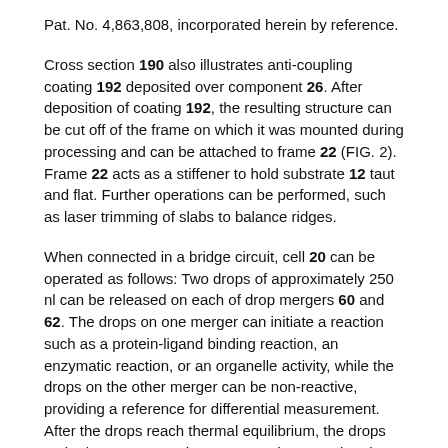Pat. No. 4,863,808, incorporated herein by reference.
Cross section 190 also illustrates anti-coupling coating 192 deposited over component 26. After deposition of coating 192, the resulting structure can be cut off of the frame on which it was mounted during processing and can be attached to frame 22 (FIG. 2). Frame 22 acts as a stiffener to hold substrate 12 taut and flat. Further operations can be performed, such as laser trimming of slabs to balance ridges.
When connected in a bridge circuit, cell 20 can be operated as follows: Two drops of approximately 250 nl can be released on each of drop mergers 60 and 62. The drops on one merger can initiate a reaction such as a protein-ligand binding reaction, an enzymatic reaction, or an organelle activity, while the drops on the other merger can be non-reactive, providing a reference for differential measurement. After the drops reach thermal equilibrium, the drops on both mergers can be concurrently merged and mixed by applying appropriate voltage signals across drop merger electrodes (e.g. electrodes 182 and 184 in FIG. 5).
A thermal input signal resulting from merging and mixing of